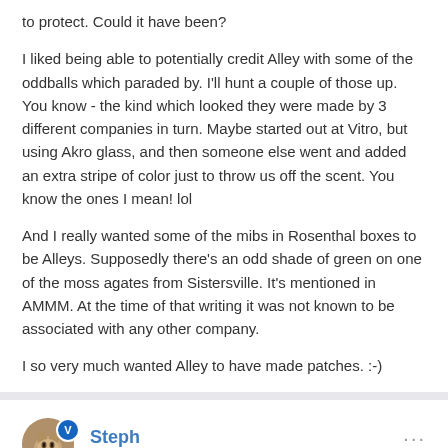to protect. Could it have been?
I liked being able to potentially credit Alley with some of the oddballs which paraded by. I'll hunt a couple of those up. You know - the kind which looked they were made by 3 different companies in turn. Maybe started out at Vitro, but using Akro glass, and then someone else went and added an extra stripe of color just to throw us off the scent. You know the ones I mean! lol
And I really wanted some of the mibs in Rosenthal boxes to be Alleys. Supposedly there's an odd shade of green on one of the moss agates from Sistersville. It's mentioned in AMMM. At the time of that writing it was not known to be associated with any other company.
I so very much wanted Alley to have made patches. :-)
Steph
Posted June 15, 2010
This is another idea I've been wondering about: